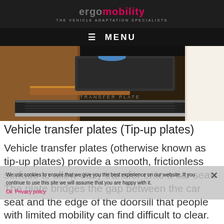ergomobility THE VEHICLE ADAPTATION SPECIALISTS
≡ MENU
[Figure (photo): Close-up photo of a vehicle door sill area showing a transfer plate / tip-up plate mechanism, with brown leather interior visible on the left and white seat on the right.]
Vehicle transfer plates (Tip-up plates)
Vehicle transfer plates (otherwise known as tip-up plates) provide a smooth, frictionless surface to allow easy transfer onto a car seat. The plate bridges the gap between the car seat and the edge of the doorsill that people with limited mobility can find difficult to clear.
We use cookies to ensure that we give you the best experience on our website. If you continue to use this site we will assume that you are happy with it.